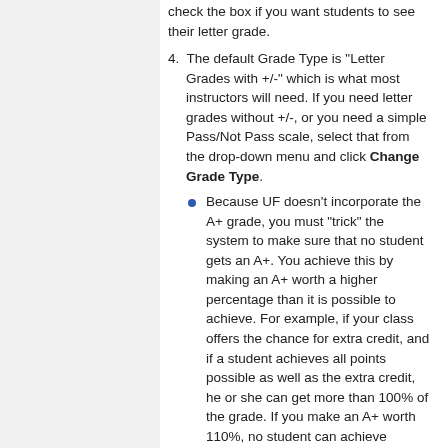check the box if you want students to see their letter grade.
4. The default Grade Type is "Letter Grades with +/-" which is what most instructors will need. If you need letter grades without +/-, or you need a simple Pass/Not Pass scale, select that from the drop-down menu and click Change Grade Type.
Because UF doesn't incorporate the A+ grade, you must "trick" the system to make sure that no student gets an A+. You achieve this by making an A+ worth a higher percentage than it is possible to achieve. For example, if your class offers the chance for extra credit, and if a student achieves all points possible as well as the extra credit, he or she can get more than 100% of the grade. If you make an A+ worth 110%, no student can achieve